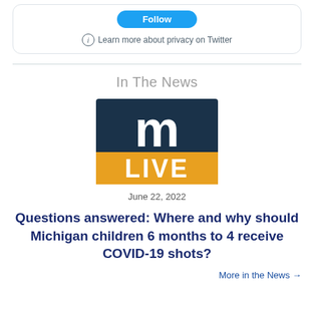Learn more about privacy on Twitter
In The News
[Figure (logo): MLive logo: dark navy background with white letter 'm' on top and bold orange 'LIVE' text on the bottom half]
June 22, 2022
Questions answered: Where and why should Michigan children 6 months to 4 receive COVID-19 shots?
More in the News →